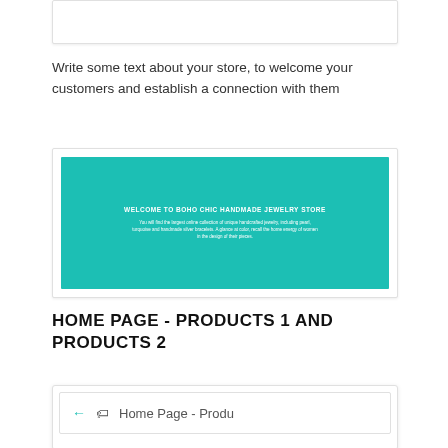[Figure (screenshot): White rectangular UI box at top of page]
Write some text about your store, to welcome your customers and establish a connection with them
[Figure (screenshot): Teal/turquoise banner with white text: 'WELCOME TO BOHO CHIC HANDMADE JEWELRY STORE' and a short description paragraph below]
HOME PAGE - PRODUCTS 1 AND PRODUCTS 2
[Figure (screenshot): White card UI element showing a navigation row with a left arrow, tag icon, and text 'Home Page - Produ']